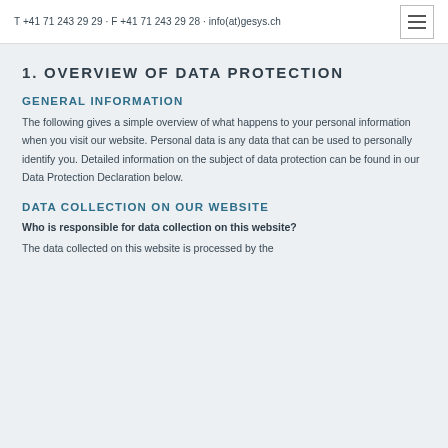T +41 71 243 29 29 · F +41 71 243 29 28 · info(at)gesys.ch
1. OVERVIEW OF DATA PROTECTION
GENERAL INFORMATION
The following gives a simple overview of what happens to your personal information when you visit our website. Personal data is any data that can be used to personally identify you. Detailed information on the subject of data protection can be found in our Data Protection Declaration below.
DATA COLLECTION ON OUR WEBSITE
Who is responsible for data collection on this website?
The data collected on this website is processed by the